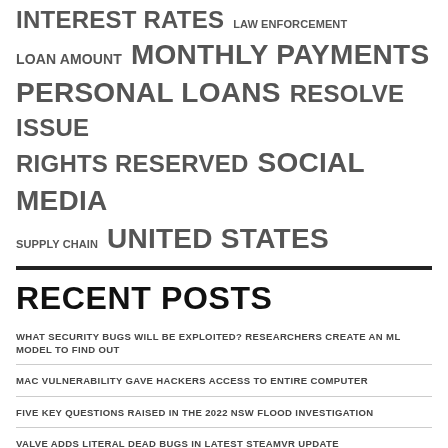[Figure (infographic): Tag cloud with terms: INTEREST RATES, LAW ENFORCEMENT, LOAN AMOUNT, MONTHLY PAYMENTS, PERSONAL LOANS, RESOLVE ISSUE, RIGHTS RESERVED, SOCIAL MEDIA, SUPPLY CHAIN, UNITED STATES — displayed in varying font sizes indicating frequency/importance]
RECENT POSTS
WHAT SECURITY BUGS WILL BE EXPLOITED? RESEARCHERS CREATE AN ML MODEL TO FIND OUT
MAC VULNERABILITY GAVE HACKERS ACCESS TO ENTIRE COMPUTER
FIVE KEY QUESTIONS RAISED IN THE 2022 NSW FLOOD INVESTIGATION
VALVE ADDS LITERAL DEAD BUGS IN LATEST STEAMVR UPDATE